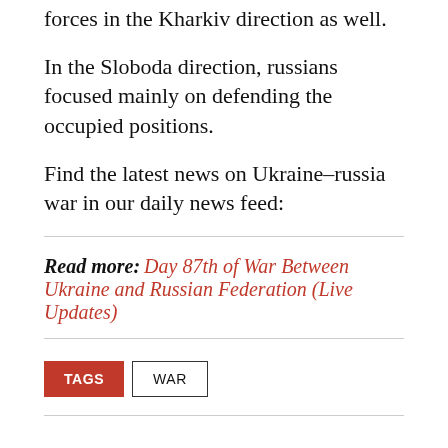forces in the Kharkiv direction as well.
In the Sloboda direction, russians focused mainly on defending the occupied positions.
Find the latest news on Ukraine–russia war in our daily news feed:
Read more: Day 87th of War Between Ukraine and Russian Federation (Live Updates)
TAGS  WAR